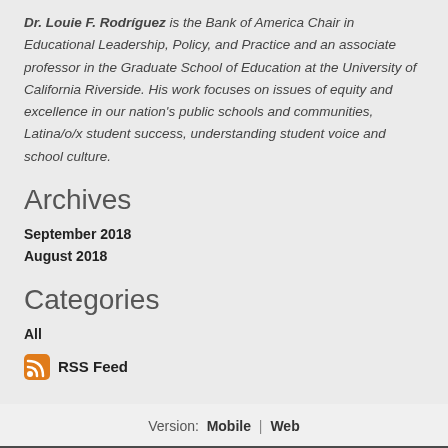Dr. Louie F. Rodríguez is the Bank of America Chair in Educational Leadership, Policy, and Practice and an associate professor in the Graduate School of Education at the University of California Riverside. His work focuses on issues of equity and excellence in our nation's public schools and communities, Latina/o/x student success, understanding student voice and school culture.
Archives
September 2018
August 2018
Categories
All
[Figure (other): RSS Feed icon with link text]
Version: Mobile | Web
Created with Weebly
Get the App